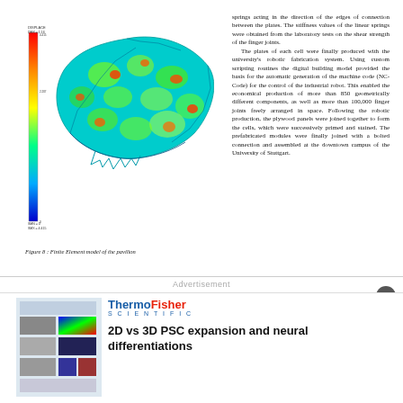[Figure (engineering-diagram): Finite Element model of the pavilion showing a shell structure with color-mapped stress/displacement distribution ranging from blue (low) to red (high), with a color legend on the left side.]
Figure 8 : Finite Element model of the pavilion
springs acting in the direction of the edges of connection between the plates. The stiffness values of the linear springs were obtained from the laboratory tests on the shear strength of the finger joints. The plates of each cell were finally produced with the university's robotic fabrication system. Using custom scripting routines the digital building model provided the basis for the automatic generation of the machine code (NC-Code) for the control of the industrial robot. This enabled the economical production of more than 850 geometrically different components, as well as more than 100,000 finger joints freely arranged in space. Following the robotic production, the plywood panels were joined together to form the cells, which were successively primed and stained. The prefabricated modules were finally joined with a bolted connection and assembled at the downtown campus of the University of Stuttgart.
Advertisement
[Figure (photo): Advertisement thumbnail showing a scientific poster with microscopy images and data visualizations.]
ThermoFisher SCIENTIFIC
2D vs 3D PSC expansion and neural differentiations